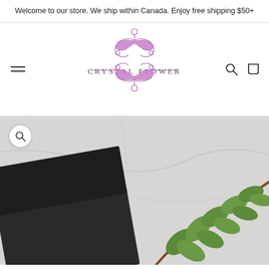Welcome to our store. We ship within Canada. Enjoy free shipping $50+
[Figure (logo): Crystal Flower ornate floral logo with text CRYSTAL FLOWER in serif letters, purple/pink decorative flourish above and below the text]
[Figure (photo): Product photo showing a dark matte black gift box partially open, with a sprig of eucalyptus leaves on a marble/grey surface background. A magnify/zoom icon is visible in the upper left corner.]